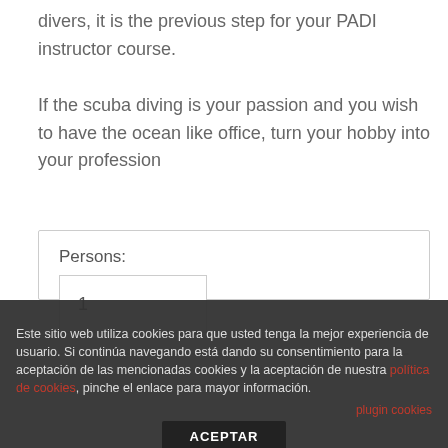divers, it is the previous step for your PADI instructor course.
If the scuba diving is your passion and you wish to have the ocean like office, turn your hobby into your profession
[Figure (screenshot): A booking widget showing a 'Persons:' field with value 1, and a calendar date picker showing August 2022 with day headers M T W T F S S partially visible]
Este sitio web utiliza cookies para que usted tenga la mejor experiencia de usuario. Si continúa navegando está dando su consentimiento para la aceptación de las mencionadas cookies y la aceptación de nuestra política de cookies, pinche el enlace para mayor información.
plugin cookies
ACEPTAR